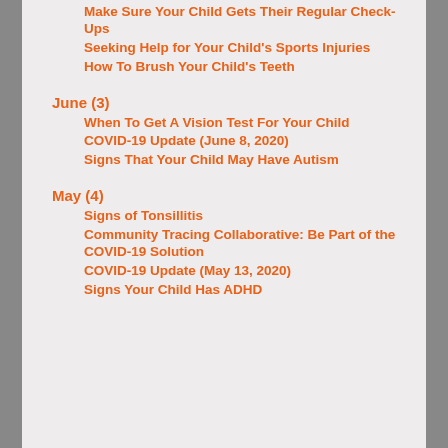Make Sure Your Child Gets Their Regular Check-Ups
Seeking Help for Your Child's Sports Injuries
How To Brush Your Child's Teeth
June (3)
When To Get A Vision Test For Your Child
COVID-19 Update (June 8, 2020)
Signs That Your Child May Have Autism
May (4)
Signs of Tonsillitis
Community Tracing Collaborative: Be Part of the COVID-19 Solution
COVID-19 Update (May 13, 2020)
Signs Your Child Has ADHD